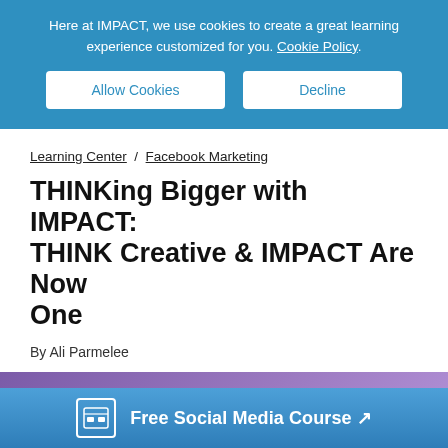Here at IMPACT, we use cookies to create a great learning experience customized for you. Cookie Policy.
Allow Cookies | Decline
Learning Center / Facebook Marketing
THINKing Bigger with IMPACT: THINK Creative & IMPACT Are Now One
By Ali Parmelee
[Figure (illustration): Purple promotional image strip partially visible at bottom of article area]
Free Social Media Course ↗